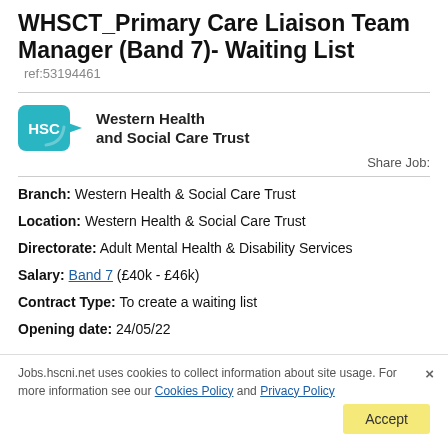WHSCT_Primary Care Liaison Team Manager (Band 7)- Waiting List ref:53194461
[Figure (logo): Western Health and Social Care Trust (HSC) logo with teal rounded rectangle and organisation name]
Share Job:
Branch: Western Health & Social Care Trust
Location: Western Health & Social Care Trust
Directorate: Adult Mental Health & Disability Services
Salary: Band 7 (£40k - £46k)
Contract Type: To create a waiting list
Opening date: 24/05/22
Jobs.hscni.net uses cookies to collect information about site usage. For more information see our Cookies Policy and Privacy Policy